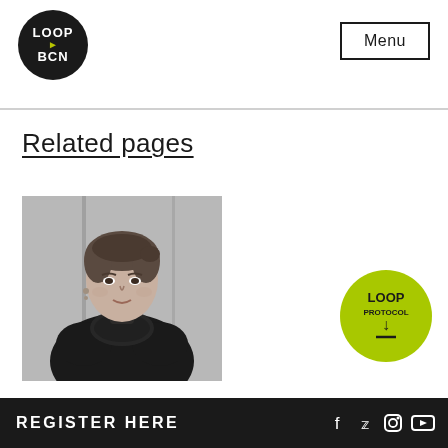LOOP BCN — Menu
Related pages
[Figure (photo): Black and white portrait photograph of a woman in a black dress with sheer floral neckline, hair pulled back, looking at the camera]
[Figure (logo): LOOP PROTOCOL circular badge in yellow-green color with download arrow]
REGISTER HERE — social media icons: Facebook, Twitter, Instagram, YouTube